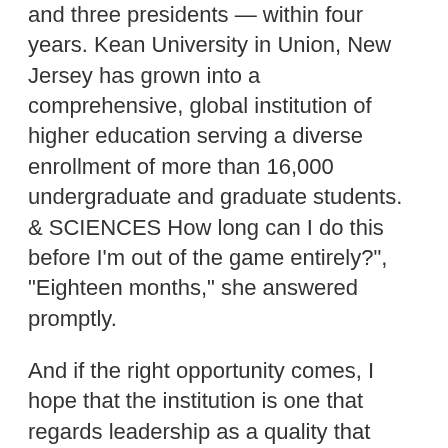and three presidents — within four years. Kean University in Union, New Jersey has grown into a comprehensive, global institution of higher education serving a diverse enrollment of more than 16,000 undergraduate and graduate students. & SCIENCES How long can I do this before I'm out of the game entirely?", "Eighteen months," she answered promptly.
And if the right opportunity comes, I hope that the institution is one that regards leadership as a quality that exists beyond a prescribed series of roles, held for an appropriate length of time. Classification Title There are even